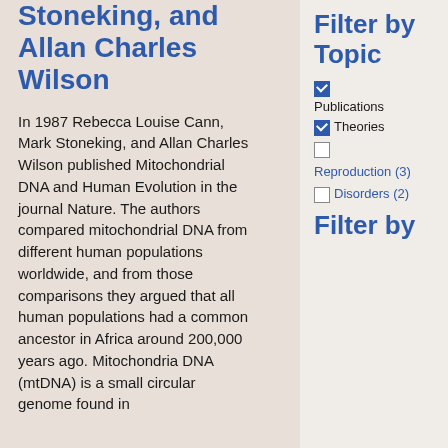Stoneking, and Allan Charles Wilson
In 1987 Rebecca Louise Cann, Mark Stoneking, and Allan Charles Wilson published Mitochondrial DNA and Human Evolution in the journal Nature. The authors compared mitochondrial DNA from different human populations worldwide, and from those comparisons they argued that all human populations had a common ancestor in Africa around 200,000 years ago. Mitochondria DNA (mtDNA) is a small circular genome found in...
Filter by Topic
Publications (checked)
Theories (checked)
Reproduction (3) (unchecked)
Disorders (2) (unchecked)
Filter by